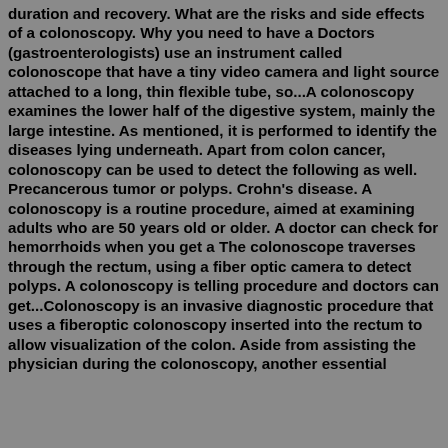duration and recovery. What are the risks and side effects of a colonoscopy. Why you need to have a Doctors (gastroenterologists) use an instrument called colonoscope that have a tiny video camera and light source attached to a long, thin flexible tube, so...A colonoscopy examines the lower half of the digestive system, mainly the large intestine. As mentioned, it is performed to identify the diseases lying underneath. Apart from colon cancer, colonoscopy can be used to detect the following as well. Precancerous tumor or polyps. Crohn's disease. A colonoscopy is a routine procedure, aimed at examining adults who are 50 years old or older. A doctor can check for hemorrhoids when you get a The colonoscope traverses through the rectum, using a fiber optic camera to detect polyps. A colonoscopy is telling procedure and doctors can get...Colonoscopy is an invasive diagnostic procedure that uses a fiberoptic colonoscopy inserted into the rectum to allow visualization of the colon. Aside from assisting the physician during the colonoscopy, another essential